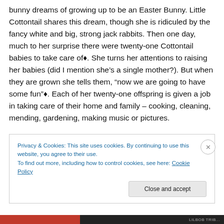bunny dreams of growing up to be an Easter Bunny. Little Cottontail shares this dream, though she is ridiculed by the fancy white and big, strong jack rabbits. Then one day, much to her surprise there were twenty-one Cottontail babies to take care of♦. She turns her attentions to raising her babies (did I mention she’s a single mother?). But when they are grown she tells them, “now we are going to have some fun”♦. Each of her twenty-one offspring is given a job in taking care of their home and family – cooking, cleaning, mending, gardening, making music or pictures.
Privacy & Cookies: This site uses cookies. By continuing to use this website, you agree to their use.
To find out more, including how to control cookies, see here: Cookie Policy